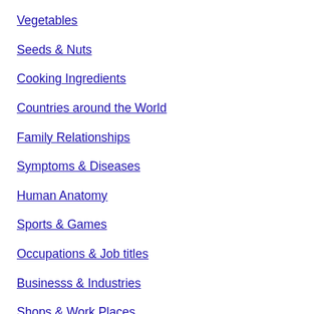Vegetables
Seeds & Nuts
Cooking Ingredients
Countries around the World
Family Relationships
Symptoms & Diseases
Human Anatomy
Sports & Games
Occupations & Job titles
Businesss & Industries
Shops & Work Places